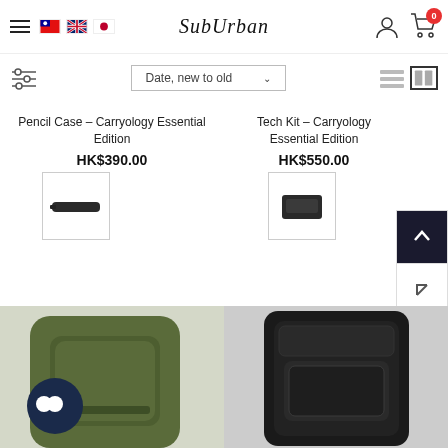[Figure (screenshot): SubUrban e-commerce website header with hamburger menu, flag icons (Taiwan, UK, Japan), SubUrban logo in script font, user icon, and cart icon with 0 badge]
[Figure (screenshot): Toolbar with filter/sort controls: filter sliders icon, 'Date, new to old' dropdown, list and grid view toggle icons]
Pencil Case - Carryology Essential Edition
HK$390.00
[Figure (photo): Thumbnail of black pencil case product]
Tech Kit - Carryology Essential Edition
HK$550.00
[Figure (photo): Thumbnail of black tech kit pouch product]
[Figure (photo): Bottom left product photo: olive/army green backpack with dark circular chat widget overlay]
[Figure (photo): Bottom right product photo: black crossbody/shoulder bag]